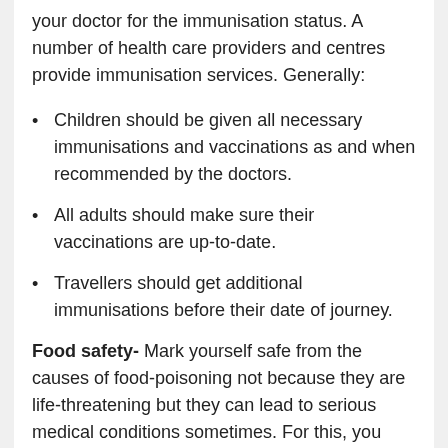your doctor for the immunisation status. A number of health care providers and centres provide immunisation services. Generally:
Children should be given all necessary immunisations and vaccinations as and when recommended by the doctors.
All adults should make sure their vaccinations are up-to-date.
Travellers should get additional immunisations before their date of journey.
Food safety- Mark yourself safe from the causes of food-poisoning not because they are life-threatening but they can lead to serious medical conditions sometimes. For this, you have to prepare and store your food safely. Take necessary precautions to kill germs or to prevent them entering your immune system:
Wash your hands with soap and water before